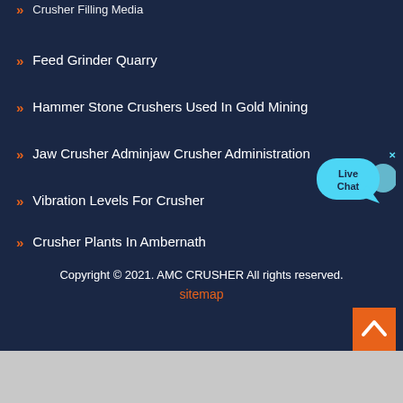Crusher Filling Media
Feed Grinder Quarry
Hammer Stone Crushers Used In Gold Mining
Jaw Crusher Adminjaw Crusher Administration
Vibration Levels For Crusher
Crusher Plants In Ambernath
[Figure (illustration): Live Chat widget button with cyan speech bubble and 'Live Chat' text]
Copyright © 2021. AMC CRUSHER All rights reserved.
sitemap
[Figure (illustration): Orange back-to-top button with upward arrow]